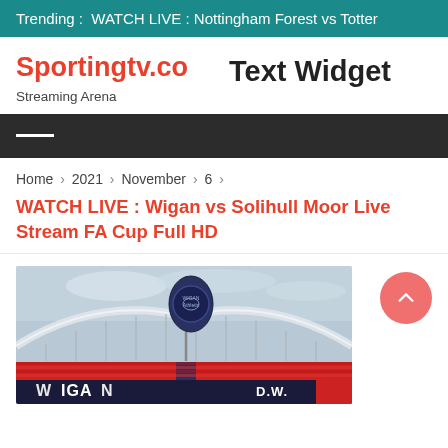Trending :  WATCH LIVE : Nottingham Forest vs Totter
Sportingtv.co
Streaming Arena
Text Widget
Home › 2021 › November › 6 ›
WATCH LIVE : Wigan vs Solihull Moor Live Stream FA Cup Full HD
[Figure (photo): Wigan Athletic stadium with a corner flag bearing the Wigan Athletic crest, stands visible with blue and red seats, stadium roof arching overhead, cloudy sky.]